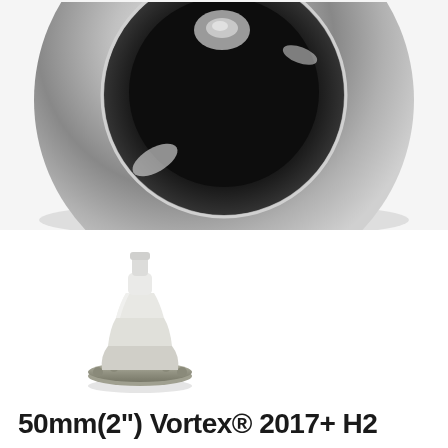[Figure (photo): Close-up top view of a large circular chrome/stainless steel spa jet face with a dark center, showing reflective metallic surface and a small fitting in the center top.]
[Figure (photo): Side/front view of a small spa jet insert component — a white plastic nozzle tower seated in a round brushed-metal flange base, showing threaded or stepped cylindrical shape.]
50mm(2") Vortex® 2017+ H2